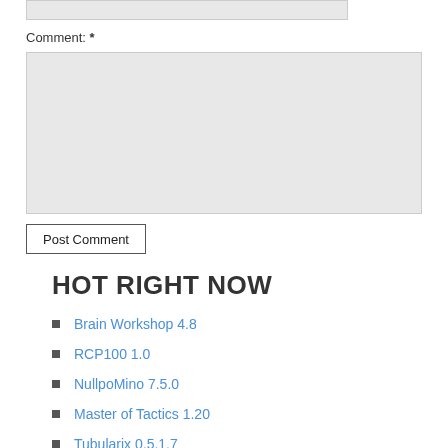[Figure (screenshot): Top input box (text field, partially visible at top of page)]
Comment: *
[Figure (screenshot): Large comment textarea input box with light grey background]
Post Comment
HOT RIGHT NOW
Brain Workshop 4.8
RCP100 1.0
NullpoMino 7.5.0
Master of Tactics 1.20
Tubularix 0.5.1.7